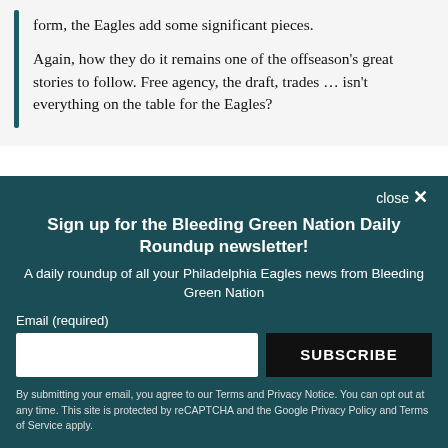form, the Eagles add some significant pieces.
Again, how they do it remains one of the offseason’s great stories to follow. Free agency, the draft, trades … isn’t everything on the table for the Eagles?
close ×
Sign up for the Bleeding Green Nation Daily Roundup newsletter!
A daily roundup of all your Philadelphia Eagles news from Bleeding Green Nation
Email (required)
SUBSCRIBE
By submitting your email, you agree to our Terms and Privacy Notice. You can opt out at any time. This site is protected by reCAPTCHA and the Google Privacy Policy and Terms of Service apply.